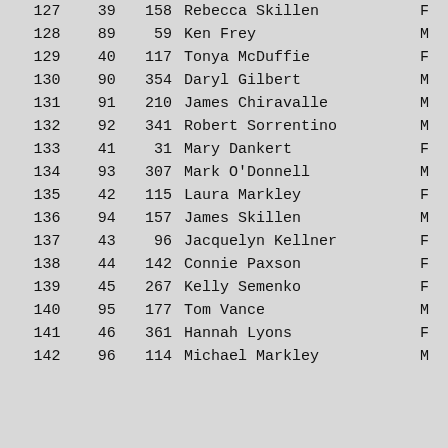| Rank | Sub | Bib | Name | Sex |
| --- | --- | --- | --- | --- |
| 127 | 39 | 158 | Rebecca Skillen | F |
| 128 | 89 | 59 | Ken Frey | M |
| 129 | 40 | 117 | Tonya McDuffie | F |
| 130 | 90 | 354 | Daryl Gilbert | M |
| 131 | 91 | 210 | James Chiravalle | M |
| 132 | 92 | 341 | Robert Sorrentino | M |
| 133 | 41 | 31 | Mary Dankert | F |
| 134 | 93 | 307 | Mark O'Donnell | M |
| 135 | 42 | 115 | Laura Markley | F |
| 136 | 94 | 157 | James Skillen | M |
| 137 | 43 | 96 | Jacquelyn Kellner | F |
| 138 | 44 | 142 | Connie Paxson | F |
| 139 | 45 | 267 | Kelly Semenko | F |
| 140 | 95 | 177 | Tom Vance | M |
| 141 | 46 | 361 | Hannah Lyons | F |
| 142 | 96 | 114 | Michael Markley | M |